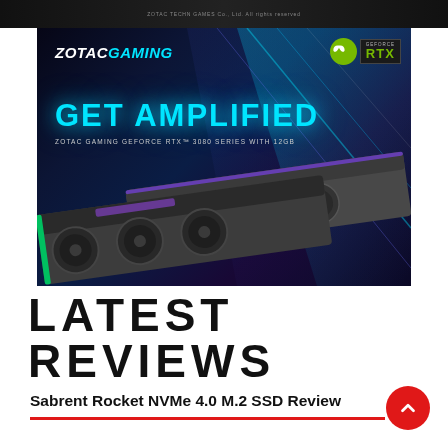[Figure (photo): Dark banner strip at the top with small text: ZOTAC GAMING GAMES Co. Ltd. All rights reserved]
[Figure (photo): ZOTAC GAMING advertisement for GeForce RTX 3080 series with 12GB. Dark blue/purple background with light rays. Text reads GET AMPLIFIED in large cyan letters. Two RTX 3080 graphics cards shown at bottom. ZOTAC GAMING logo top left, NVIDIA GeForce RTX badge top right.]
LATEST REVIEWS
Sabrent Rocket NVMe 4.0 M.2 SSD Review